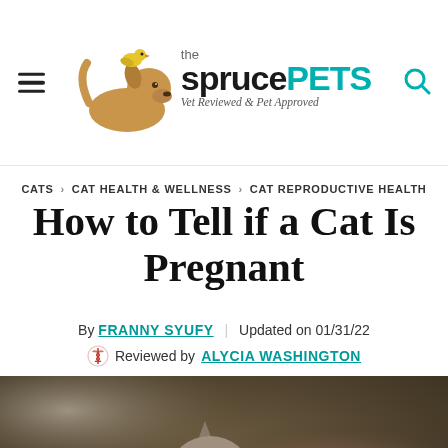the spruce PETS — Vet Reviewed & Pet Approved
CATS > CAT HEALTH & WELLNESS > CAT REPRODUCTIVE HEALTH
How to Tell if a Cat Is Pregnant
By FRANNY SYUFY | Updated on 01/31/22
Reviewed by ALYCIA WASHINGTON
[Figure (photo): Close-up photo of a tabby cat looking upward, with a blurred dark/beige background. An 'Ad' badge is visible in the bottom right corner.]